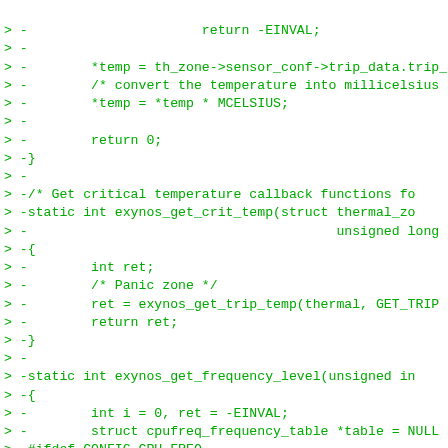Code diff showing removal of thermal/frequency functions in Linux kernel source